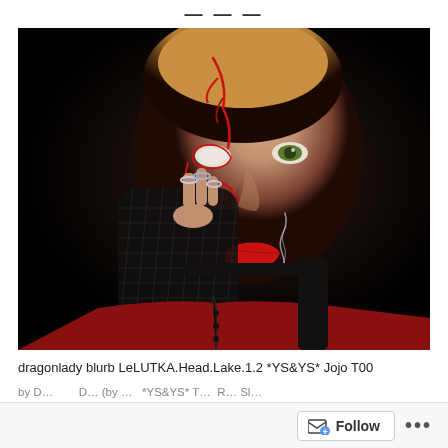[Figure (photo): A digital/CGI render of a woman with blonde hair, dramatic red face tattoo/markings around one eye, red lipstick, smoking a cigarette, wearing a red corset and black mesh glove, against a dark background.]
dragonlady blurb LeLUTKA.Head.Lake.1.2 *YS&YS* Jojo T00
by D... ... D... (partially visible)
Follow ...